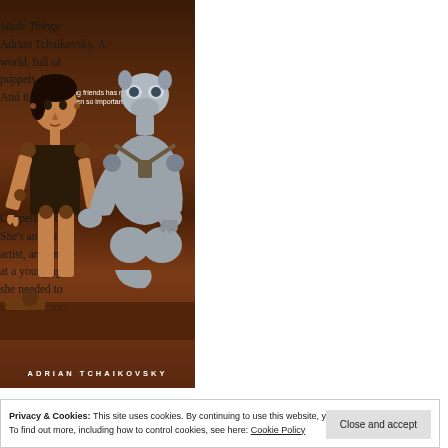[Figure (illustration): Book cover of 'Made Things' by Adrian Tchaikovsky showing two puppet-like figures (a wooden girl and a silver/metal creature) on a dark brown workshop background with the tagline 'Making friends has never been so important.' and the author name ADRIAN TCHAIKOVSKY at the bottom.]
Made Things by Adrian Tchaikovsky. A world, full of puppets. Yes, And it makes
Coppelia, aka She's an okay artist, and an at a young age she needed to safe. Well, mo
Privacy & Cookies: This site uses cookies. By continuing to use this website, you agree to their use.
To find out more, including how to control cookies, see here: Cookie Policy